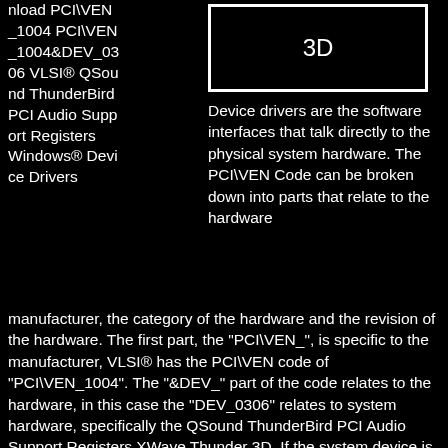[Figure (screenshot): Black box with '3D' text, bordered in white, appearing as a software/UI screenshot thumbnail]
nload PCI\VEN_1004 PCI\VEN_1004&DEV_0306 VLSI® QSound ThunderBird PCI Audio Support Registers Windows® Device Drivers
Device drivers are the software interfaces that talk directly to the physical system hardware. The PCI\VEN Code can be broken down into parts that relate to the hardware manufacturer, the category of the hardware and the revision of the hardware. The first part, the "PCI\VEN_", is specific to the manufacturer, VLSI® has the PCI\VEN code of "PCI\VEN_1004". The "&DEV_" part of the code relates to the hardware, in this case the "DEV_0306" relates to system hardware, specifically the QSound ThunderBird PCI Audio Support Registers XWave Thunder 3D. If the system device is slow or just